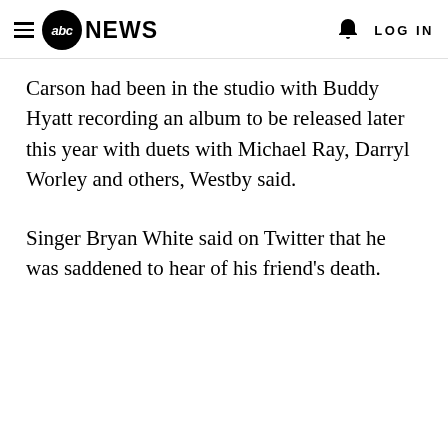abc NEWS  LOG IN
Carson had been in the studio with Buddy Hyatt recording an album to be released later this year with duets with Michael Ray, Darryl Worley and others, Westby said.
Singer Bryan White said on Twitter that he was saddened to hear of his friend's death.